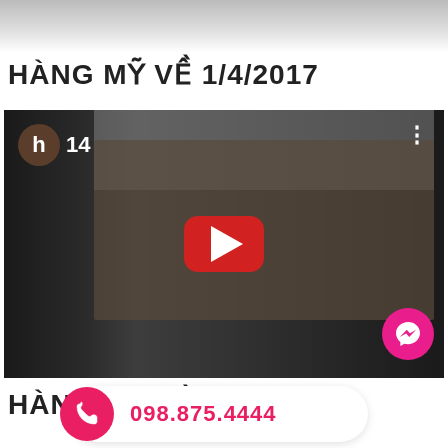[Figure (photo): Top partial photo strip showing a blurred indoor scene]
HÀNG MỸ VỀ 1/4/2017
[Figure (screenshot): YouTube video thumbnail showing person holding a product in a room with a red play button overlay, avatar 'h' with count 14, messenger icon]
HÀNG MỸ VỀ 7/3/20...
098.875.4444